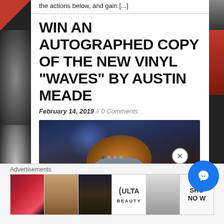the actions below, and gain [...]
WIN AN AUTOGRAPHED COPY OF THE NEW VINYL “WAVES” BY AUSTIN MEADE
February 14, 2019 // 0 Comments
[Figure (photo): Austin Meade performing on stage, playing guitar with long hair swinging, blue stage lighting in background]
Advertisements
[Figure (photo): Advertisement strip showing beauty/makeup ads including Ulta Beauty with lips, makeup brush, eyes, Ulta logo, model face, and SHOP NOW text]